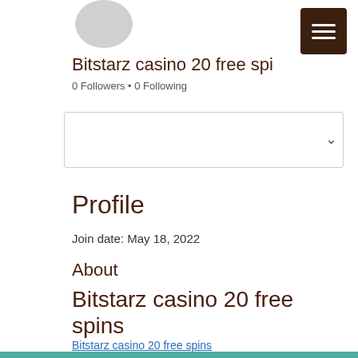[Figure (illustration): Circular grey avatar placeholder image at the top of the profile page]
Bitstarz casino 20 free spi
0 Followers • 0 Following
Profile
Join date: May 18, 2022
About
Bitstarz casino 20 free spins
Bitstarz casino 20 free spins